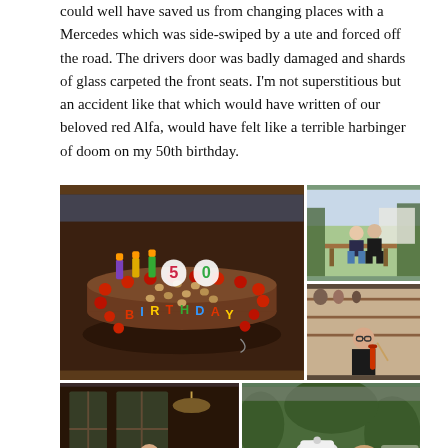could well have saved us from changing places with a Mercedes which was side-swiped by a ute and forced off the road. The drivers door was badly damaged and shards of glass carpeted the front seats. I'm not superstitious but an accident like that which would have written of our beloved red Alfa, would have felt like a terrible harbinger of doom on my 50th birthday.
[Figure (photo): Collection of 5 birthday photos: a chocolate cake decorated with raspberries, hazelnuts, and '50 BIRTHDAY' candles; two people sitting on a bench outdoors; a woman playing a red violin/fiddle indoors; a group of people indoors near windows; and a group selfie outdoors.]